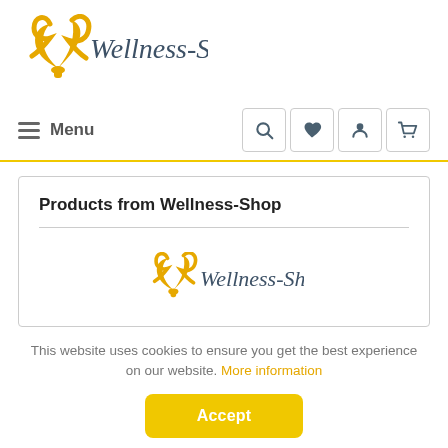[Figure (logo): Wellness-Shop logo with golden flame/spade icon and serif text]
[Figure (screenshot): Navigation bar with hamburger Menu button and search, heart, user, cart icon buttons]
Products from Wellness-Shop
[Figure (logo): Wellness-Shop logo centered inside product listing box]
This website uses cookies to ensure you get the best experience on our website. More information
Accept